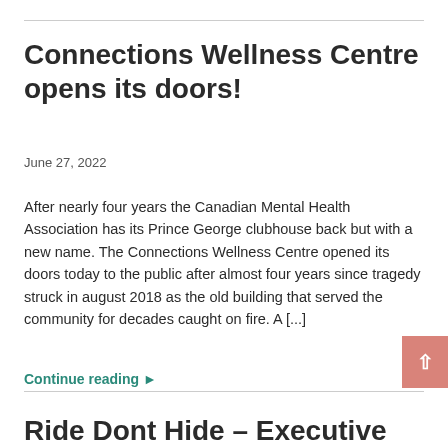Connections Wellness Centre opens its doors!
June 27, 2022
After nearly four years the Canadian Mental Health Association has its Prince George clubhouse back but with a new name. The Connections Wellness Centre opened its doors today to the public after almost four years since tragedy struck in august 2018 as the old building that served the community for decades caught on fire. A [...]
Continue reading ▶
Ride Dont Hide – Executive